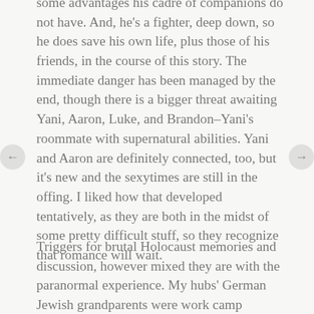some advantages his cadre of companions do not have. And, he's a fighter, deep down, so he does save his own life, plus those of his friends, in the course of this story. The immediate danger has been managed by the end, though there is a bigger threat awaiting Yani, Aaron, Luke, and Brandon–Yani's roommate with supernatural abilities. Yani and Aaron are definitely connected, too, but it's new and the sexytimes are still in the offing. I liked how that developed tentatively, as they are both in the midst of some pretty difficult stuff, so they recognize that romance will wait.
Triggers for brutal Holocaust memories and discussion, however mixed they are with the paranormal experience. My hubs' German Jewish grandparents were work camp survivors and the